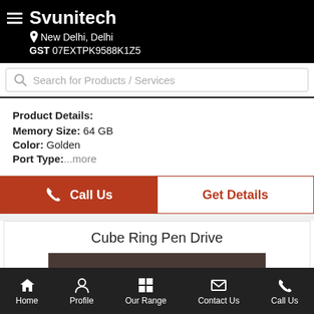Svunitech
New Delhi, Delhi
GST 07EXTPK9588K1Z5
Search for Products / Services
Product Details:
Memory Size: 64 GB
Color: Golden
Port Type: ...more
Call Us
Get Details
Cube Ring Pen Drive
[Figure (photo): Dark brownish-gray rectangular product image area for Cube Ring Pen Drive]
Home  Profile  Our Range  Contact Us  Call Us